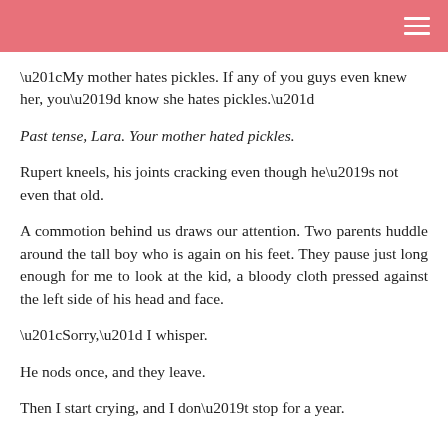“My mother hates pickles. If any of you guys even knew her, you’d know she hates pickles.”
Past tense, Lara. Your mother hated pickles.
Rupert kneels, his joints cracking even though he’s not even that old.
A commotion behind us draws our attention. Two parents huddle around the tall boy who is again on his feet. They pause just long enough for me to look at the kid, a bloody cloth pressed against the left side of his head and face.
“Sorry,” I whisper.
He nods once, and they leave.
Then I start crying, and I don’t stop for a year.